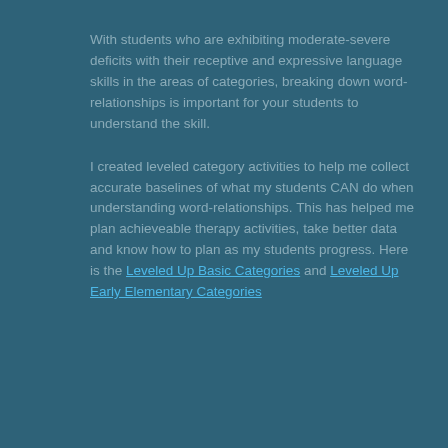With students who are exhibiting moderate-severe deficits with their receptive and expressive language skills in the areas of categories, breaking down word-relationships is important for your students to understand the skill.
I created leveled category activities to help me collect accurate baselines of what my students CAN do when understanding word-relationships. This has helped me plan achieveable therapy activities, take better data and know how to plan as my students progress. Here is the Leveled Up Basic Categories and Leveled Up Early Elementary Categories